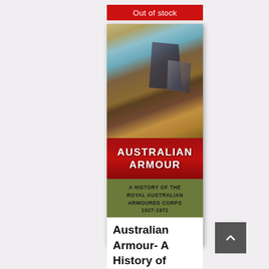Out of stock
[Figure (photo): Book cover of 'Australian Armour: A History of the Royal Australian Armoured Corps 1927-1972' by Major General B.H. Liddell Hart. The cover shows a painting of military vehicles/tanks in a landscape, with a red band displaying the main title in white bold letters, and a green lower section with subtitle and author details.]
Australian Armour- A History of